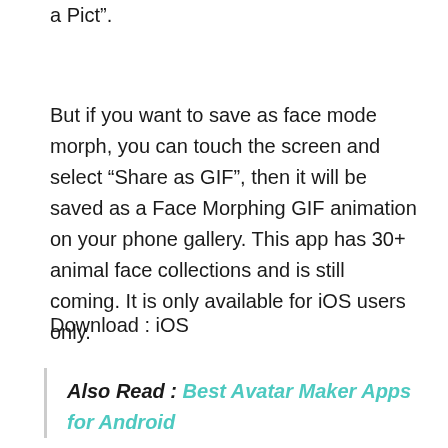a Pict”.
But if you want to save as face mode morph, you can touch the screen and select “Share as GIF”, then it will be saved as a Face Morphing GIF animation on your phone gallery. This app has 30+ animal face collections and is still coming. It is only available for iOS users only.
Download : iOS
Also Read : Best Avatar Maker Apps for Android